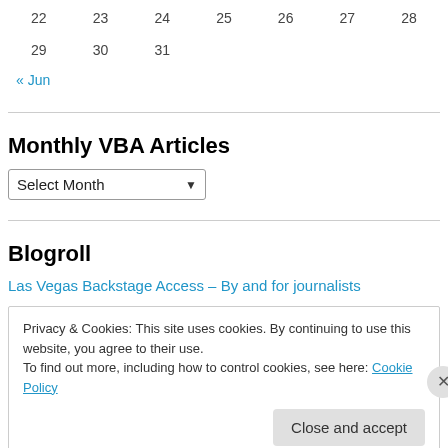| 22 | 23 | 24 | 25 | 26 | 27 | 28 |
| 29 | 30 | 31 |  |  |  |  |
« Jun
Monthly VBA Articles
Select Month
Blogroll
Las Vegas Backstage Access – By and for journalists
Privacy & Cookies: This site uses cookies. By continuing to use this website, you agree to their use. To find out more, including how to control cookies, see here: Cookie Policy
Close and accept